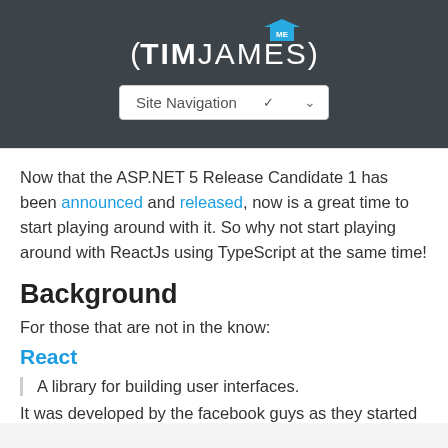(TIMJAMES) Site Navigation
Now that the ASP.NET 5 Release Candidate 1 has been announced and released, now is a great time to start playing around with it. So why not start playing around with ReactJs using TypeScript at the same time!
Background
For those that are not in the know:
React
A library for building user interfaces.
It was developed by the facebook guys as they started